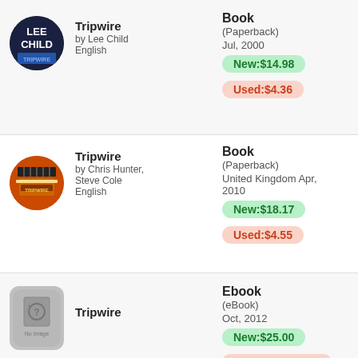[Figure (illustration): Circular book cover thumbnail: white text 'LEE CHILD' on dark background]
Tripwire
by Lee Child
English
Book
(Paperback)
Jul, 2000
New:$14.98
Used:$4.36
[Figure (illustration): Circular book cover thumbnail: orange tones, mechanical imagery]
Tripwire
by Chris Hunter, Steve Cole
English
Book
(Paperback)
United Kingdom Apr, 2010
New:$18.17
Used:$4.55
[Figure (illustration): Gray rounded-rectangle placeholder with 'No Image' icon]
Tripwire
Ebook
(eBook)
Oct, 2012
New:$25.00
Used:Click to Check